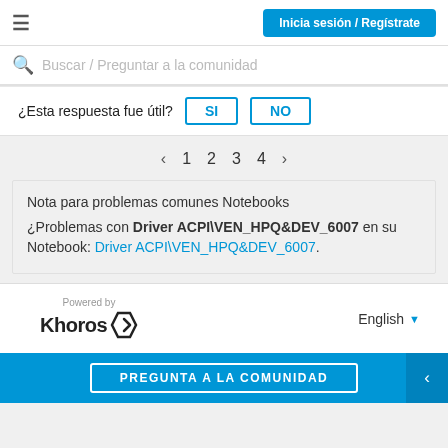Inicia sesión / Regístrate
Buscar / Preguntar a la comunidad
¿Esta respuesta fue útil? SI NO
< 1 2 3 4 >
Nota para problemas comunes Notebooks ¿Problemas con Driver ACPI\VEN_HPQ&DEV_6007 en su Notebook: Driver ACPI\VEN_HPQ&DEV_6007.
[Figure (logo): Powered by Khoros logo with stylized K icon]
English
PREGUNTA A LA COMUNIDAD